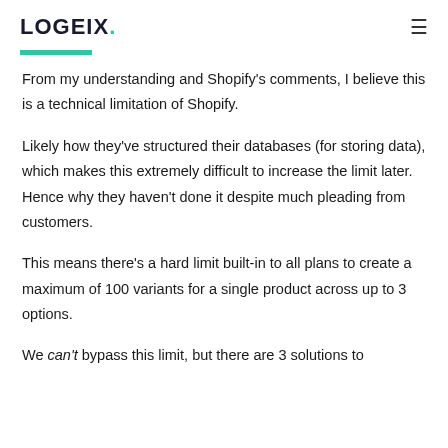LOGEIX.
From my understanding and Shopify's comments, I believe this is a technical limitation of Shopify.
Likely how they've structured their databases (for storing data), which makes this extremely difficult to increase the limit later. Hence why they haven't done it despite much pleading from customers.
This means there's a hard limit built-in to all plans to create a maximum of 100 variants for a single product across up to 3 options.
We can't bypass this limit, but there are 3 solutions to